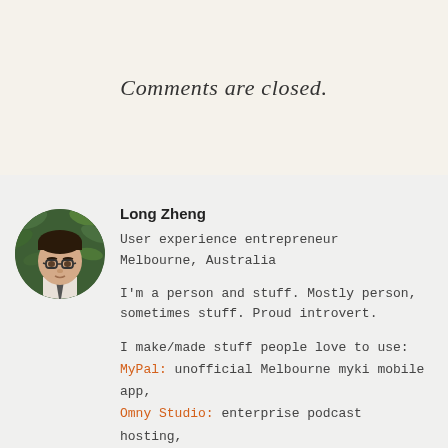Comments are closed.
[Figure (photo): Circular avatar photo of Long Zheng, a person wearing glasses and a tie, against a green leafy background.]
Long Zheng
User experience entrepreneur
Melbourne, Australia
I'm a person and stuff. Mostly person, sometimes stuff. Proud introvert.
I make/made stuff people love to use:
MyPal: unofficial Melbourne myki mobile app,
Omny Studio: enterprise podcast hosting,